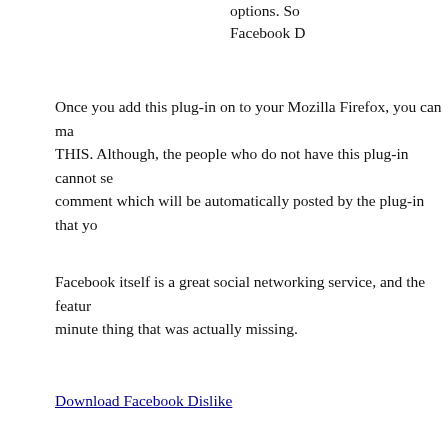options. So Facebook D
Once you add this plug-in on to your Mozilla Firefox, you can ma THIS. Although, the people who do not have this plug-in cannot se comment which will be automatically posted by the plug-in that y
Facebook itself is a great social networking service, and the featur minute thing that was actually missing.
Download Facebook Dislike